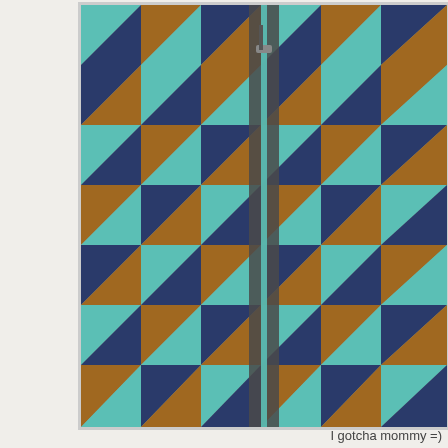[Figure (photo): Close-up photo of a geometric patterned jacket/coat with teal, navy blue, and brown triangle pattern and a visible zipper. The image is bordered with a thin gray/white border.]
I gotcha mommy =)
If you live in Colorado Springs or near by or maybe in state and you'd like to see this sculpture in person, it Tejon St at the intersection of Tejon St and E Moreno you take some fun pictures and post them on Instagr see them. Knowing that people enjoy public art as m the creation of this kind of work.
Posted by Kasia Polkowska